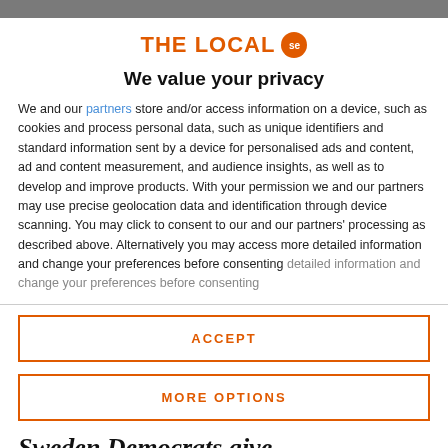THE LOCAL se
We value your privacy
We and our partners store and/or access information on a device, such as cookies and process personal data, such as unique identifiers and standard information sent by a device for personalised ads and content, ad and content measurement, and audience insights, as well as to develop and improve products. With your permission we and our partners may use precise geolocation data and identification through device scanning. You may click to consent to our and our partners' processing as described above. Alternatively you may access more detailed information and change your preferences before consenting
ACCEPT
MORE OPTIONS
Sweden Democrats give